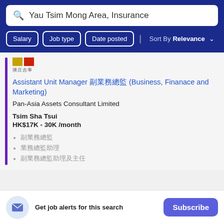Yau Tsim Mong Area, Insurance
Salary | Job type | Date posted | Sort By Relevance
[Figure (logo): Pan-Asia Assets Consultant Limited company logo with gold and red blocks and Chinese characters]
Assistant Unit Manager 副業務總監 (Business, Finanace and Marketing)
Pan-Asia Assets Consultant Limited
Tsim Sha Tsui
HK$17K - 30K /month
副業務總監
業務總監助理
副業務總監助理及主任
Get job alerts for this search